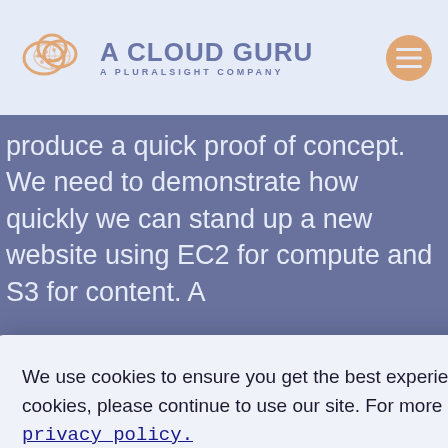[Figure (logo): A Cloud Guru logo with orange cloud icon and text 'A CLOUD GURU / A PLURALSIGHT COMPANY' on white header bar]
produce a quick proof of concept. We need to demonstrate how quickly we can stand up a new website using EC2 for compute and S3 for content. A
We use cookies to ensure you get the best experience on our website. If you agree to our use of cookies, please continue to use our site. For more information, see our privacy policy.
Continue
can
and a
e/get-e
other
provided me, /home/ansible/env_vars.yml with